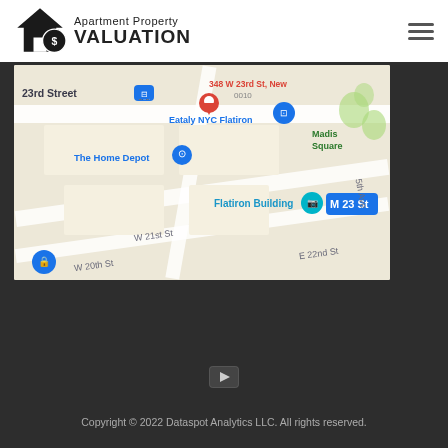[Figure (logo): Apartment Property Valuation logo with house icon and dollar sign]
[Figure (map): Google Maps view showing Flatiron district in New York City, centered near 348 W 23rd St. Shows landmarks including Eataly NYC Flatiron, The Home Depot, Flatiron Building, Madison Square Park, and streets W 20th St, W 21st St, W 23rd St, 5th Ave, E 22nd St. M 23 St subway marker visible.]
[Figure (other): YouTube icon button]
Copyright © 2022 Dataspot Analytics LLC. All rights reserved.